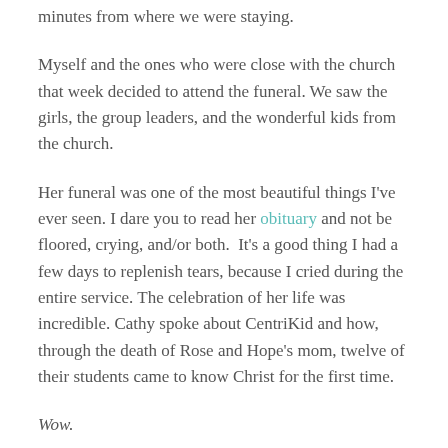minutes from where we were staying.
Myself and the ones who were close with the church that week decided to attend the funeral. We saw the girls, the group leaders, and the wonderful kids from the church.
Her funeral was one of the most beautiful things I've ever seen. I dare you to read her obituary and not be floored, crying, and/or both.  It's a good thing I had a few days to replenish tears, because I cried during the entire service. The celebration of her life was incredible. Cathy spoke about CentriKid and how, through the death of Rose and Hope's mom, twelve of their students came to know Christ for the first time.
Wow.